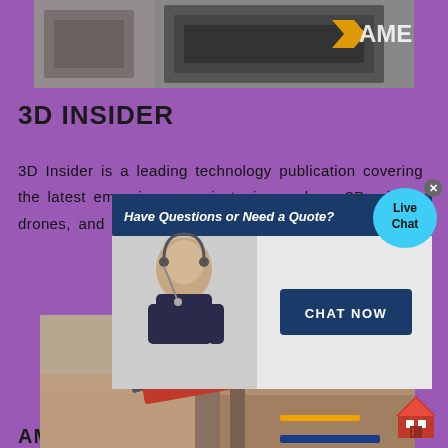[Figure (photo): Industrial machinery photo with AMC logo at top]
3D INSIDER
3D Insider is a leading technology publication covering the latest emerging news in topics such as 3D printing, drones, and virtual reality.
[Figure (screenshot): Live chat popup overlay with 'Have Questions or Need a Quote?' header, customer service representative image, and CHAT NOW button. Live Chat bubble in top right corner.]
[Figure (photo): Industrial aggregate/stone processing machinery with AMC logo, crushed stone falling from conveyor]
AMC